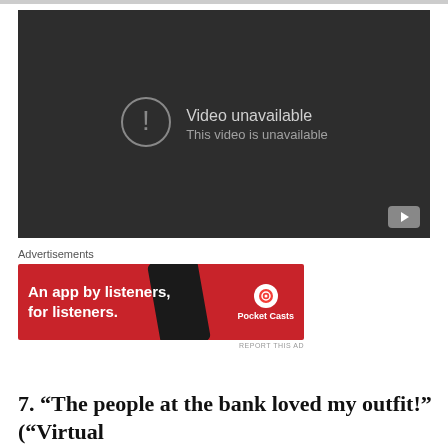[Figure (screenshot): YouTube-style video player showing 'Video unavailable - This video is unavailable' error message on dark background with YouTube button in bottom right]
Advertisements
[Figure (photo): Pocket Casts advertisement banner: red background with text 'An app by listeners, for listeners.' and Pocket Casts logo on right, phone image in center]
REPORT THIS AD
7. “The people at the bank loved my outfit!” (“Virtual